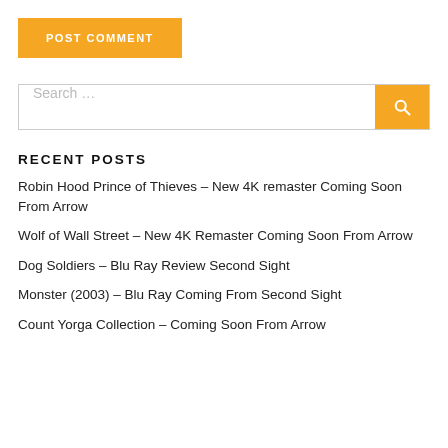POST COMMENT
Search ...
RECENT POSTS
Robin Hood Prince of Thieves – New 4K remaster Coming Soon From Arrow
Wolf of Wall Street – New 4K Remaster Coming Soon From Arrow
Dog Soldiers – Blu Ray Review Second Sight
Monster (2003) – Blu Ray Coming From Second Sight
Count Yorga Collection – Coming Soon From Arrow